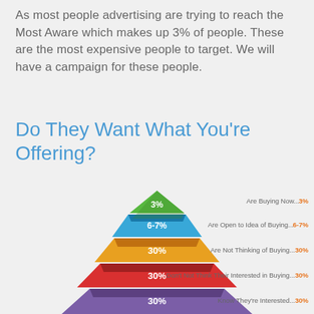As most people advertising are trying to reach the Most Aware which makes up 3% of people. These are the most expensive people to target. We will have a campaign for these people.
Do They Want What You're Offering?
[Figure (infographic): A layered pyramid diagram with 5 colored tiers showing buyer awareness percentages. Top tier (green): 3% Are Buying Now. Second tier (blue): 6-7% Are Open to Idea of Buying. Third tier (orange/yellow): 30% Are Not Thinking of Buying. Fourth tier (red): 30% Don't Not Think Their Interested in Buying. Bottom tier (purple): 30% Know They're Interested.]